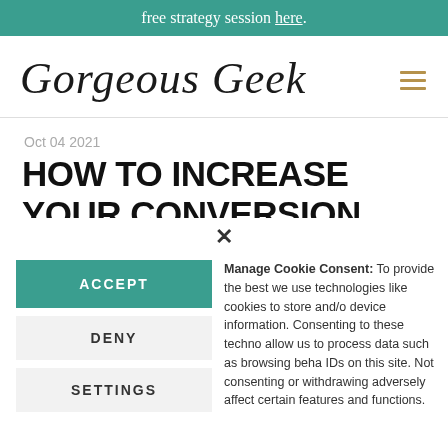free strategy session here.
[Figure (logo): Gorgeous Geek script logo with hamburger menu icon]
Oct 04 2021
HOW TO INCREASE YOUR CONVERSION RATES WITH
Manage Cookie Consent: To provide the best we use technologies like cookies to store and/o device information. Consenting to these techno allow us to process data such as browsing beha IDs on this site. Not consenting or withdrawing adversely affect certain features and functions.
ACCEPT
DENY
SETTINGS